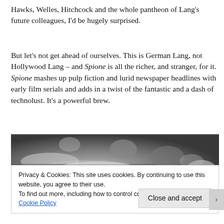Hawks, Welles, Hitchcock and the whole pantheon of Lang’s future colleagues, I’d be hugely surprised.
But let’s not get ahead of ourselves. This is German Lang, not Hollywood Lang – and Spione is all the richer, and stranger, for it. Spione mashes up pulp fiction and lurid newspaper headlines with early film serials and adds in a twist of the fantastic and a dash of technolust. It’s a powerful brew.
[Figure (photo): Black and white film still showing arms and hands near a table with objects, appearing to be a scene from the film Spione.]
Privacy & Cookies: This site uses cookies. By continuing to use this website, you agree to their use.
To find out more, including how to control cookies, see here: Our Cookie Policy
Close and accept